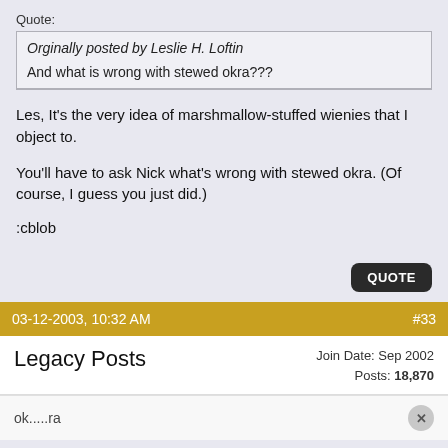Quote:
Orginally posted by Leslie H. Loftin
And what is wrong with stewed okra???
Les, It's the very idea of marshmallow-stuffed wienies that I object to.
You'll have to ask Nick what's wrong with stewed okra. (Of course, I guess you just did.)
:cblob
03-12-2003, 10:32 AM
#33
Legacy Posts
Join Date: Sep 2002
Posts: 18,870
ok.....ra